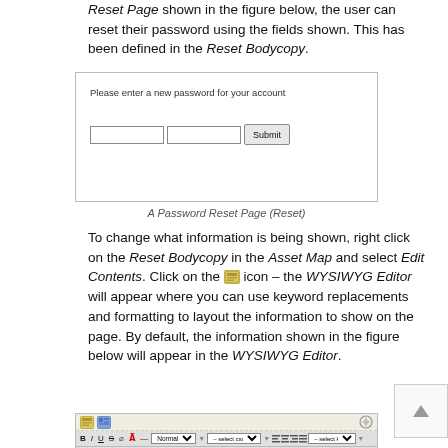Reset Page shown in the figure below, the user can reset their password using the fields shown. This has been defined in the Reset Bodycopy.
[Figure (screenshot): A Password Reset Page UI showing a label 'Please enter a new password for your account', two text input fields, and a Submit button.]
A Password Reset Page (Reset)
To change what information is being shown, right click on the Reset Bodycopy in the Asset Map and select Edit Contents. Click on the icon – the WYSIWYG Editor will appear where you can use keyword replacements and formatting to layout the information to show on the page. By default, the information shown in the figure below will appear in the WYSIWYG Editor.
[Figure (screenshot): A WYSIWYG Editor toolbar showing formatting buttons (B, I, U, S, etc.), dropdowns for Normal style and CSS style, alignment buttons, keyword selector, and a second row with additional editing icons.]